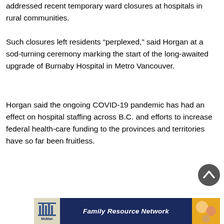addressed recent temporary ward closures at hospitals in rural communities.
Such closures left residents “perplexed,” said Horgan at a sod-turning ceremony marking the start of the long-awaited upgrade of Burnaby Hospital in Metro Vancouver.
Horgan said the ongoing COVID-19 pandemic has had an effect on hospital staffing across B.C. and efforts to increase federal health-care funding to the provinces and territories have so far been fruitless.
[Figure (other): Scroll-to-top button: dark grey circular button with upward-pointing chevron arrow]
[Figure (other): McMan Family Resource Network advertisement banner with logo on left, blue background, and family photo on right]